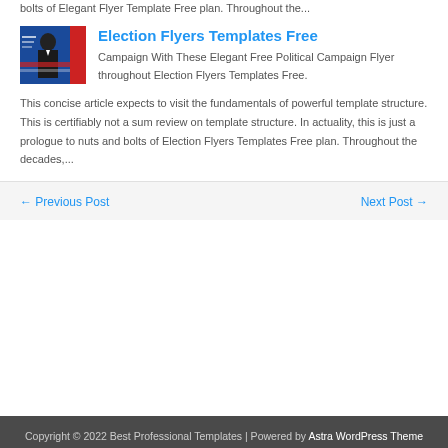bolts of Elegant Flyer Template Free plan. Throughout the...
[Figure (photo): Thumbnail image of a person in a suit against a blue political campaign background with red accents]
Election Flyers Templates Free
Campaign With These Elegant Free Political Campaign Flyer throughout Election Flyers Templates Free. This concise article expects to visit the fundamentals of powerful template structure. This is certifiably not a sum review on template structure. In actuality, this is just a prologue to nuts and bolts of Election Flyers Templates Free plan. Throughout the decades,...
← Previous Post
Next Post →
Copyright © 2022 Best Professional Templates | Powered by Astra WordPress Theme